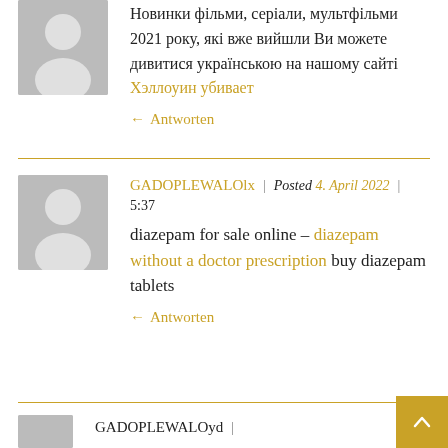Новинки фільми, серіали, мультфільми 2021 року, які вже вийшли Ви можете дивитися українською на нашому сайті Хэллоуин убивает
← Antworten
GADOPLEWALOlx | Posted 4. April 2022 | 5:37
diazepam for sale online – diazepam without a doctor prescription buy diazepam tablets
← Antworten
GADOPLEWALOyd |